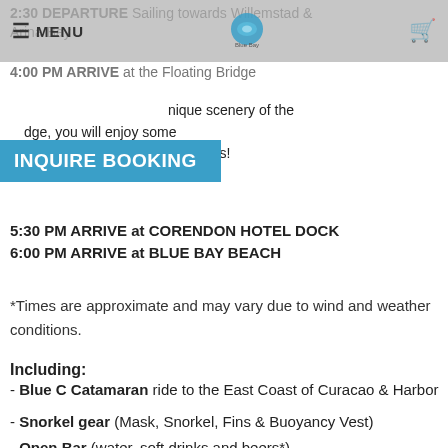MENU | Blue Bay Logo | Cart
2:30 DEPARTURE Sailing towards Willemstad & Arina Bay
4:00 PM ARRIVE at the Floating Bridge
While enjoying the unique scenery of the Floating Bridge, you will enjoy some Tropical snacks and ice cold drinks!
5:30 PM ARRIVE at CORENDON HOTEL DOCK
6:00 PM ARRIVE at BLUE BAY BEACH
*Times are approximate and may vary due to wind and weather conditions.
Including:
- Blue C Catamaran ride to the East Coast of Curacao & Harbor
- Snorkel gear (Mask, Snorkel, Fins & Buoyancy Vest)
- Open Bar (water, soft drinks and beers*)
- Live cooking BBQ Lunch
- Full guided snorkel tour led by a professional staff member
*Alcoholic drinks only available after lunch, combining of alcoholic drinks and snorkling not